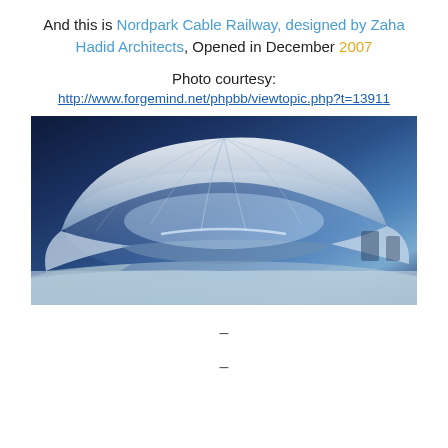And this is Nordpark Cable Railway, designed by Zaha Hadid Architects, Opened in December 2007
Photo courtesy:
http://www.forgemind.net/phpbb/viewtopic.php?t=13911
[Figure (photo): Nighttime photograph of Nordpark Cable Railway station designed by Zaha Hadid Architects, showing the futuristic white shell-like canopy structure illuminated with blue light, surrounded by snow.]
–
–